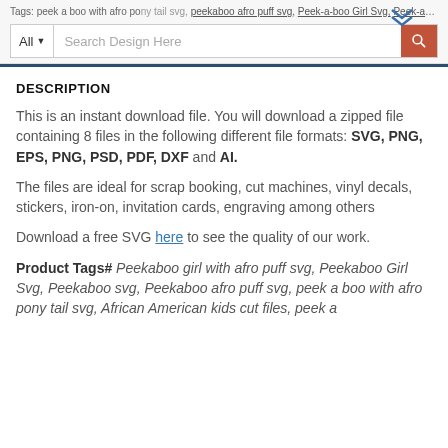Tags: peek a boo with afro pony tail svg, peekaboo afro puff svg, Peek-a-boo Girl Svg, Peek-a-boo and more, Afro puff svg, Peek-a-boo svg
DESCRIPTION
This is an instant download file. You will download a zipped file containing 8 files in the following different file formats: SVG, PNG, EPS, PNG, PSD, PDF, DXF and AI.
The files are ideal for scrap booking, cut machines, vinyl decals, stickers, iron-on, invitation cards, engraving among others
Download a free SVG here to see the quality of our work.
Product Tags# Peekaboo girl with afro puff svg, Peekaboo Girl Svg, Peekaboo svg, Peekaboo afro puff svg, peek a boo with afro pony tail svg, African American kids cut files, peek a